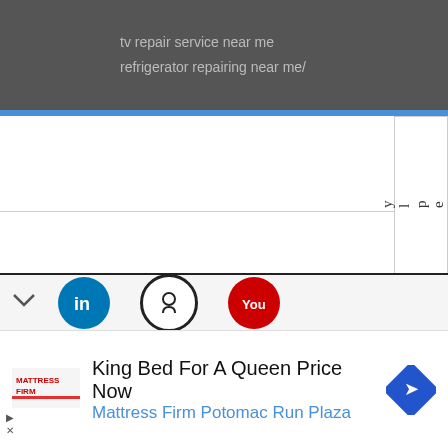tv repair service near me
refrigerator repairing near me/
Reply
Enter Comment
Search...
ABOUT ME
[Figure (screenshot): Social media icons: LinkedIn (blue), GitHub (dark outline), YouTube (red)]
King Bed For A Queen Price Now
Mattress Firm Potomac Run Plaza